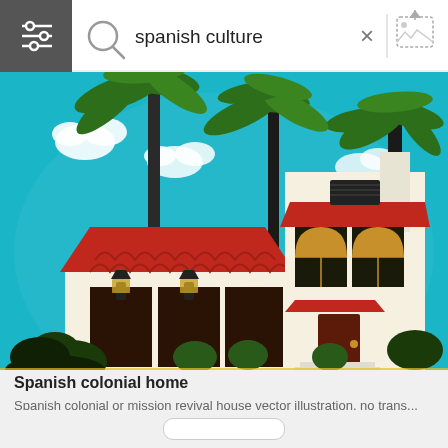[Figure (screenshot): Search bar UI with filter icon on left, magnifying glass icon, search query 'spanish culture', X close button, and image upload icon on right]
[Figure (illustration): Spanish colonial home illustration with red tile roof, white stucco walls, arched doorways, palm trees, green shrubs, teal sky background, clouds, and wall-mounted lanterns]
Spanish colonial home
Spanish colonial or mission revival house vector illustration, no trans...